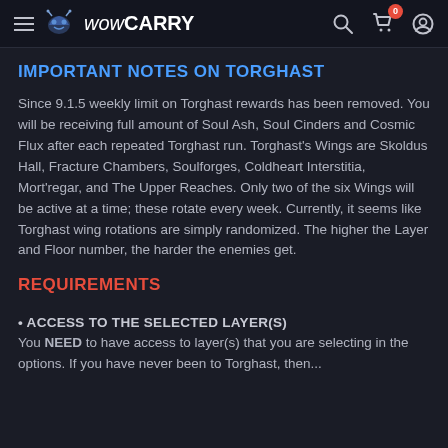wowCARRY
IMPORTANT NOTES ON TORGHAST
Since 9.1.5 weekly limit on Torghast rewards has been removed. You will be receiving full amount of Soul Ash, Soul Cinders and Cosmic Flux after each repeated Torghast run. Torghast's Wings are Skoldus Hall, Fracture Chambers, Soulforges, Coldheart Interstitia, Mort'regar, and The Upper Reaches. Only two of the six Wings will be active at a time; these rotate every week. Currently, it seems like Torghast wing rotations are simply randomized. The higher the Layer and Floor number, the harder the enemies get.
REQUIREMENTS
• ACCESS TO THE SELECTED LAYER(S)
You NEED to have access to layer(s) that you are selecting in the options. If you have never been to Torghast, then...